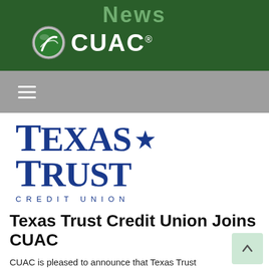News CUAC®
[Figure (logo): CUAC logo with globe icon and 'CUAC®' text on dark green header bar, with 'News' text above]
[Figure (logo): Texas Trust Credit Union logo with large serif blue text 'TEXAS TRUST' and smaller 'CREDIT UNION' below]
Texas Trust Credit Union Joins CUAC
CUAC is pleased to announce that Texas Trust